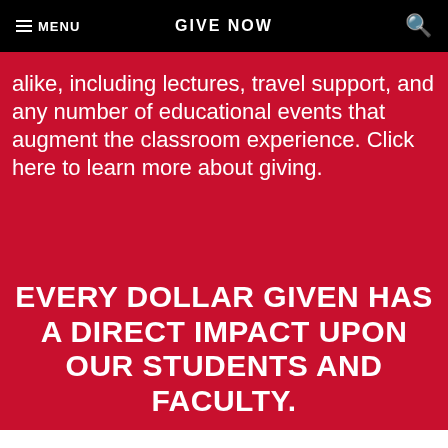MENU   GIVE NOW   🔍
alike, including lectures, travel support, and any number of educational events that augment the classroom experience. Click here to learn more about giving.
EVERY DOLLAR GIVEN HAS A DIRECT IMPACT UPON OUR STUDENTS AND FACULTY.